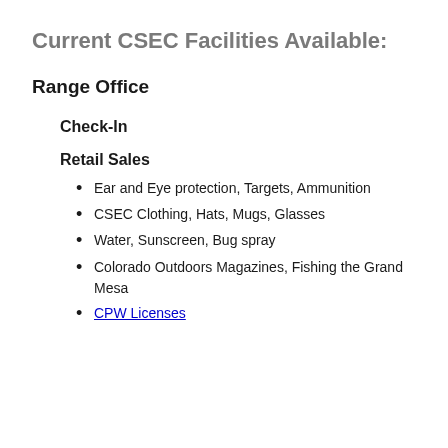Current CSEC Facilities Available:
Range Office
Check-In
Retail Sales
Ear and Eye protection, Targets, Ammunition
CSEC Clothing, Hats, Mugs, Glasses
Water, Sunscreen, Bug spray
Colorado Outdoors Magazines, Fishing the Grand Mesa
CPW Licenses